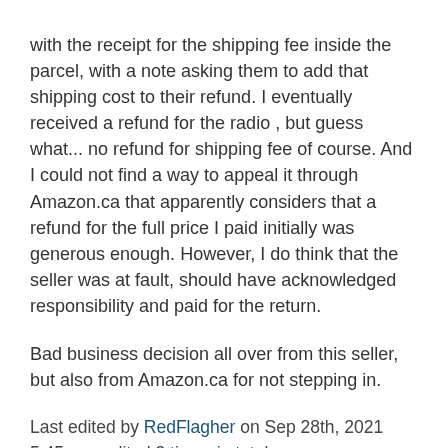with the receipt for the shipping fee inside the parcel, with a note asking them to add that shipping cost to their refund. I eventually received a refund for the radio , but guess what... no refund for shipping fee of course. And I could not find a way to appeal it through Amazon.ca that apparently considers that a refund for the full price I paid initially was generous enough. However, I do think that the seller was at fault, should have acknowledged responsibility and paid for the return.
Bad business decision all over from this seller, but also from Amazon.ca for not stepping in.
Last edited by RedFlagher on Sep 28th, 2021 5:45 pm, edited 3 times in total.